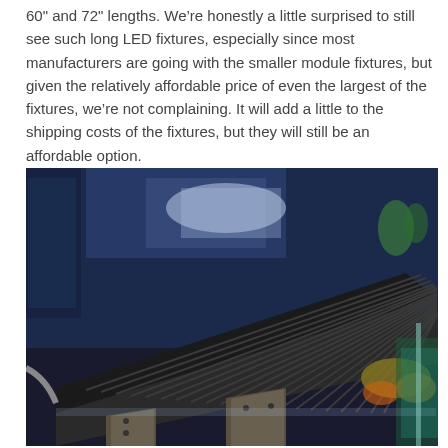60" and 72" lengths. We're honestly a little surprised to still see such long LED fixtures, especially since most manufacturers are going with the smaller module fixtures, but given the relatively affordable price of even the largest of the fixtures, we're not complaining. It will add a little to the shipping costs of the fixtures, but they will still be an affordable option.
[Figure (photo): Photograph of a long LED aquarium light fixture mounted over a reef aquarium tank, showing the ribbed heat sink on top and metal mounting brackets, with corals and blue-lit aquarium water visible in the background.]